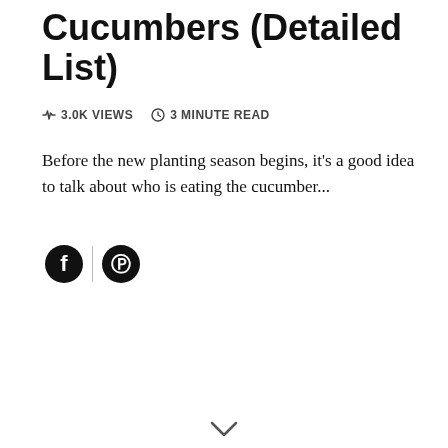Cucumbers (Detailed List)
3.0K VIEWS   3 MINUTE READ
Before the new planting season begins, it's a good idea to talk about who is eating the cucumber...
[Figure (other): Social share icons: Facebook and Pinterest circles with a vertical divider between them]
[Figure (other): Chevron/arrow pointing downward at bottom center of page]